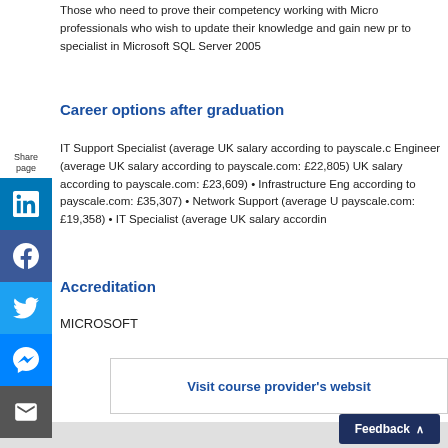Those who need to prove their competency working with Microsoft SQL Server professionals who wish to update their knowledge and gain new pr to specialist in Microsoft SQL Server 2005
Career options after graduation
IT Support Specialist (average UK salary according to payscale.c Engineer (average UK salary according to payscale.com: £22,805) UK salary according to payscale.com: £23,609) • Infrastructure Eng according to payscale.com: £35,307) • Network Support (average U payscale.com: £19,358) • IT Specialist (average UK salary accordin
Accreditation
MICROSOFT
Visit course provider's websit